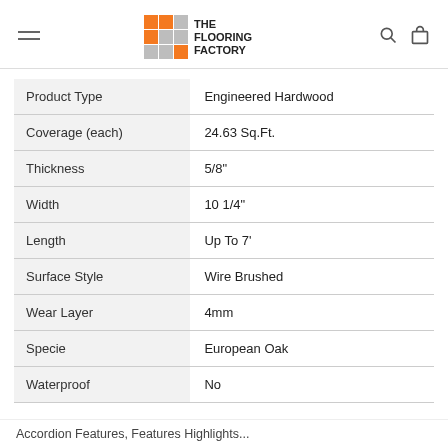The Flooring Factory
| Attribute | Value |
| --- | --- |
| Product Type | Engineered Hardwood |
| Coverage (each) | 24.63 Sq.Ft. |
| Thickness | 5/8" |
| Width | 10 1/4" |
| Length | Up To 7' |
| Surface Style | Wire Brushed |
| Wear Layer | 4mm |
| Specie | European Oak |
| Waterproof | No |
Accordion Features, Features Highlights...